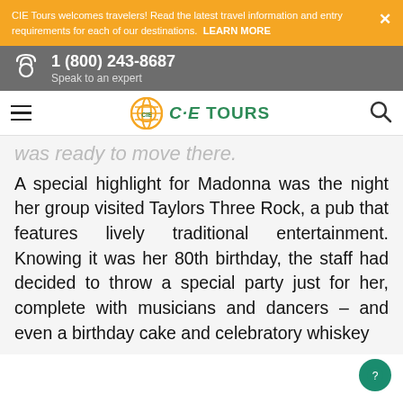CIE Tours welcomes travelers! Read the latest travel information and entry requirements for each of our destinations. LEARN MORE
1 (800) 243-8687 Speak to an expert
CIE TOURS
was ready to move there.
A special highlight for Madonna was the night her group visited Taylors Three Rock, a pub that features lively traditional entertainment. Knowing it was her 80th birthday, the staff had decided to throw a special party just for her, complete with musicians and dancers – and even a birthday cake and celebratory whiskey